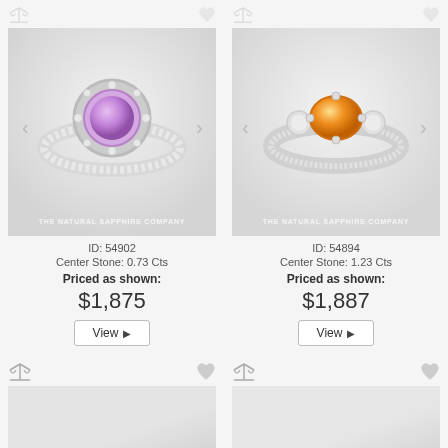[Figure (photo): Purple/lavender sapphire halo ring with diamond-paved band on white background, The Natural Sapphire Company watermark]
ID: 54902
Center Stone: 0.73 Cts
Priced as shown:
$1,875
View
[Figure (photo): Orange/yellow sapphire three-stone ring with diamond accents on white background, The Natural Sapphire Company watermark]
ID: 54894
Center Stone: 1.23 Cts
Priced as shown:
$1,887
View
[Figure (photo): Partial view of ring card at bottom left, image cut off]
[Figure (photo): Partial view of ring card at bottom right, image cut off]